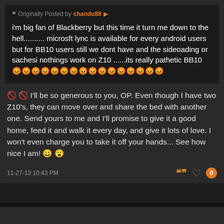Originally Posted by chandu88 — i'm big fan of Blackberry but this time it turn me down to the hell.......... microsft lync is available for every android users but for BB10 users still we dont have and the sideoading or sachesi nothings work on Z10 ......its really pathetic BB10 [emojis]
[emoji] [emoji] I'll be so generous to you, OP. Even though I have two Z10's, they can move over and share the bed with another one. Send yours to me and I'll promise to give it a good home, feed it and walk it every day, and give it lots of love. I won't even charge you to take it off your hands... See how nice I am! [emoji] [emoji]
11-27-13 10:43 PM